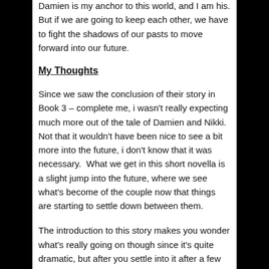Damien is my anchor to this world, and I am his. But if we are going to keep each other, we have to fight the shadows of our pasts to move forward into our future.
My Thoughts
Since we saw the conclusion of their story in Book 3 – complete me, i wasn't really expecting much more out of the tale of Damien and Nikki.  Not that it wouldn't have been nice to see a bit more into the future, i don't know that it was necessary.  What we get in this short novella is a slight jump into the future, where we see what's become of the couple now that things are starting to settle down between them.
The introduction to this story makes you wonder what's really going on though since it's quite dramatic, but after you settle into it after a few pages, you see that there's the expected anxiety that comes with preparing for your wedding, when stress isn't your friend.  We get a constant reminder through this story of how Nikki used to deal with pain and stress, and that's something that she's